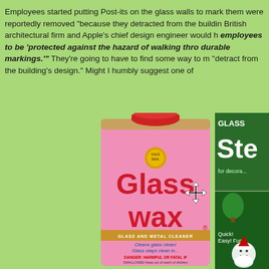Employees started putting Post-its on the glass walls to mark them were reportedly removed "because they detracted from the buildin British architectural firm and Apple's chief design engineer would h employees to be 'protected against the hazard of walking thro durable markings.'" They're going to have to find some way to m "detract from the building's design." Might I humbly suggest one of
[Figure (photo): A pink can of Glass Wax glass and metal cleaner with a red cap, showing the brand name 'Glass wax' in large red letters, with a move cursor icon overlaid. To the right is a partially visible green package labeled 'Glass Ste...' and another package showing 'Quick! Easy! Fun!' with a Santa Claus illustration.]